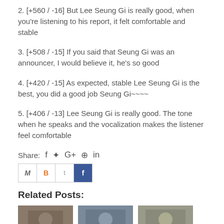2. [+560 / -16] But Lee Seung Gi is really good, when you're listening to his report, it felt comfortable and stable
3. [+508 / -15] If you said that Seung Gi was an announcer, I would believe it, he's so good
4. [+420 / -15] As expected, stable Lee Seung Gi is the best, you did a good job Seung Gi~~~~
5. [+406 / -13] Lee Seung Gi is really good. The tone when he speaks and the vocalization makes the listener feel comfortable
Share: f  ✓  G+  ®  in
[Figure (other): Social sharing buttons: email (M), Blogger (B), Twitter (t), Facebook (f)]
Related Posts:
[Figure (photo): Three thumbnail images of related posts]